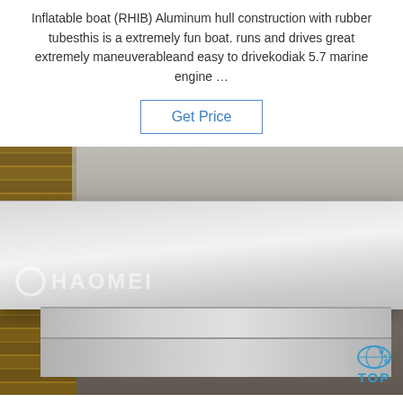Inflatable boat (RHIB) Aluminum hull construction with rubber tubesthis is a extremely fun boat. runs and drives great extremely maneuverableand easy to drivekodiak 5.7 marine engine …
Get Price
[Figure (photo): Industrial warehouse interior showing stacked aluminum sheets/plates in the foreground, with wooden pallets on the left, and warehouse equipment/workers visible in the background. A HAOMEI watermark and TOP logo are overlaid on the image.]